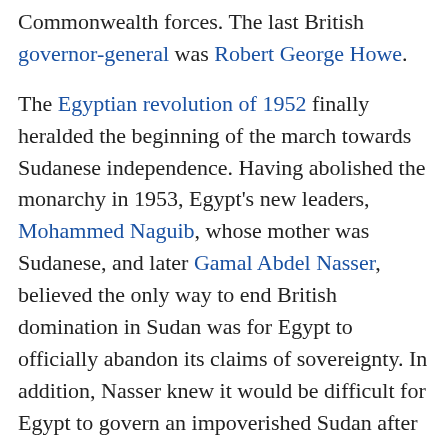Commonwealth forces. The last British governor-general was Robert George Howe.
The Egyptian revolution of 1952 finally heralded the beginning of the march towards Sudanese independence. Having abolished the monarchy in 1953, Egypt's new leaders, Mohammed Naguib, whose mother was Sudanese, and later Gamal Abdel Nasser, believed the only way to end British domination in Sudan was for Egypt to officially abandon its claims of sovereignty. In addition, Nasser knew it would be difficult for Egypt to govern an impoverished Sudan after its independence. The British on the other hand continued their political and financial support for the Mahdist successor, Abd al-Rahman al-Mahdi, whom it was believed would resist Egyptian pressure for Sudanese independence. Rahman was capable of this, but his regime was plagued by